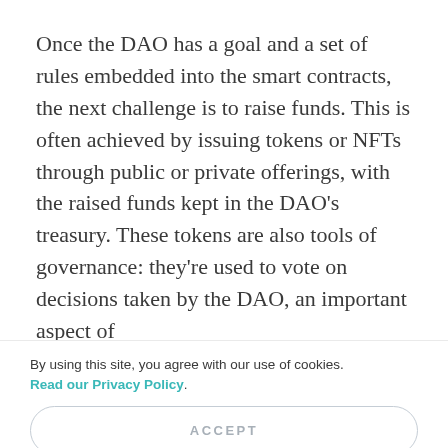Once the DAO has a goal and a set of rules embedded into the smart contracts, the next challenge is to raise funds. This is often achieved by issuing tokens or NFTs through public or private offerings, with the raised funds kept in the DAO’s treasury. These tokens are also tools of governance: they’re used to vote on decisions taken by the DAO, an important aspect of
By using this site, you agree with our use of cookies. Read our Privacy Policy.
ACCEPT
REJECT
CUSTOMIZE